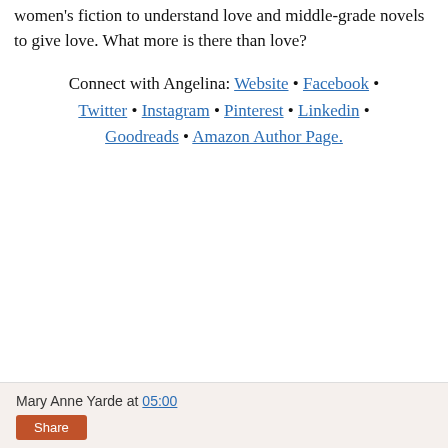women's fiction to understand love and middle-grade novels to give love. What more is there than love?
Connect with Angelina: Website • Facebook • Twitter • Instagram • Pinterest • Linkedin • Goodreads • Amazon Author Page.
Mary Anne Yarde at 05:00 Share